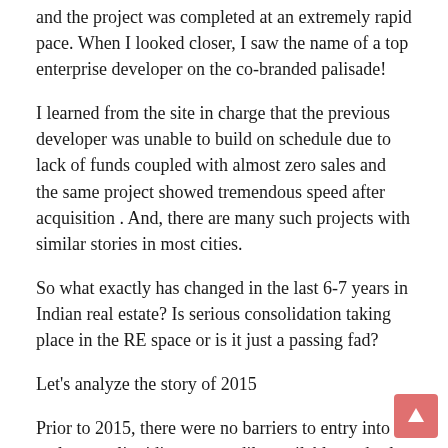and the project was completed at an extremely rapid pace. When I looked closer, I saw the name of a top enterprise developer on the co-branded palisade!
I learned from the site in charge that the previous developer was unable to build on schedule due to lack of funds coupled with almost zero sales and the same project showed tremendous speed after acquisition . And, there are many such projects with similar stories in most cities.
So what exactly has changed in the last 6-7 years in Indian real estate? Is serious consolidation taking place in the RE space or is it just a passing fad?
Let's analyze the story of 2015
Prior to 2015, there were no barriers to entry into real estate, liquidity was readily available, and sales were easy to make. Anyone who owned a piece of land would go into development given the high margins it offered. There was nothing called